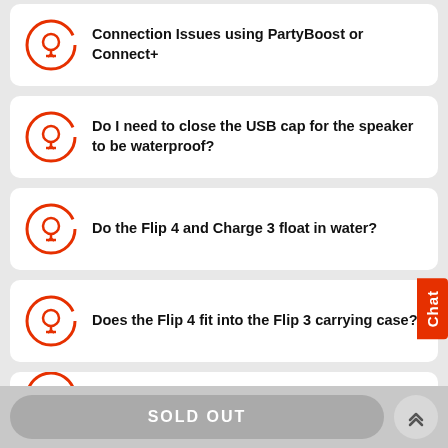Connection Issues using PartyBoost or Connect+
Do I need to close the USB cap for the speaker to be waterproof?
Do the Flip 4 and Charge 3 float in water?
Does the Flip 4 fit into the Flip 3 carrying case?
SOLD OUT